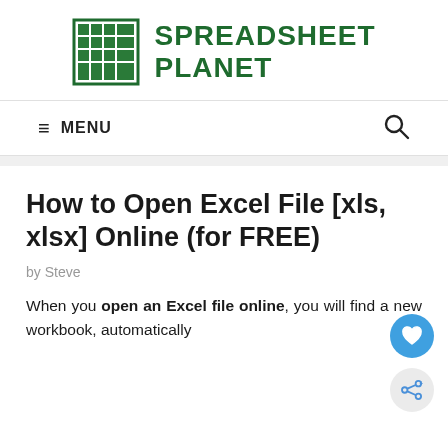[Figure (logo): Spreadsheet Planet logo with green grid icon and bold green text reading SPREADSHEET PLANET]
≡  MENU
How to Open Excel File [xls, xlsx] Online (for FREE)
by Steve
When you open an Excel file online, you will find a new workbook automatically